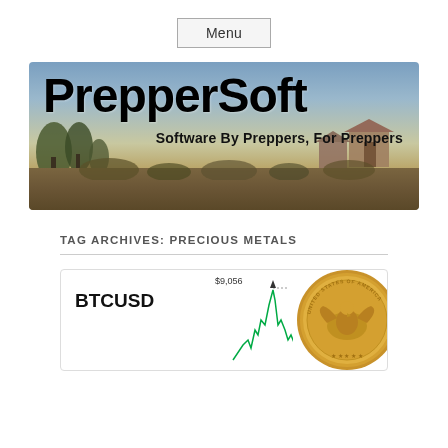Menu
[Figure (screenshot): PrepperSoft website banner with landscape background showing rural scene with trees, mountains and buildings. Title reads 'PrepperSoft' in large bold black text, subtitle 'Software By Preppers, For Preppers' in bold text.]
TAG ARCHIVES: PRECIOUS METALS
[Figure (screenshot): Card showing BTCUSD label on left, a line chart in middle with price $9,056 labeled, and a gold United States of America coin on the right.]